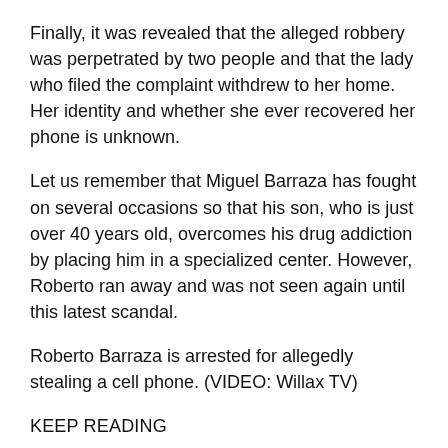Finally, it was revealed that the alleged robbery was perpetrated by two people and that the lady who filed the complaint withdrew to her home. Her identity and whether she ever recovered her phone is unknown.
Let us remember that Miguel Barraza has fought on several occasions so that his son, who is just over 40 years old, overcomes his drug addiction by placing him in a specialized center. However, Roberto ran away and was not seen again until this latest scandal.
Roberto Barraza is arrested for allegedly stealing a cell phone. (VIDEO: Willax TV)
KEEP READING
Miguelito Barraza on Jorge Luna and Ricardo Mendoza from Hablando Huev…: “They lack humility”La Banda del